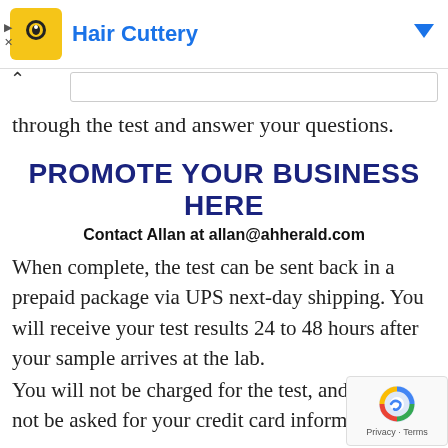[Figure (other): Advertisement banner for Hair Cuttery with yellow logo icon, blue title text, blue dropdown arrow, and ad control icons (play, X)]
through the test and answer your questions.
[Figure (other): Promotional advertisement block: PROMOTE YOUR BUSINESS HERE / Contact Allan at allan@ahherald.com]
When complete, the test can be sent back in a prepaid package via UPS next-day shipping. You will receive your test results 24 to 48 hours after your sample arrives at the lab.
You will not be charged for the test, and you will not be asked for your credit card information.